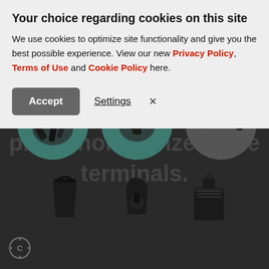Your choice regarding cookies on this site
We use cookies to optimize site functionality and give you the best possible experience. View our new Privacy Policy, Terms of Use and Cookie Policy here.
Accept | Settings | X
copper terminals that can withstand higher current ratings than traditional phosphor bronze cable terminals.
[Figure (photo): Three circular close-up photos of electrical cable terminal connectors on dark background, with smaller product images below]
Feedback